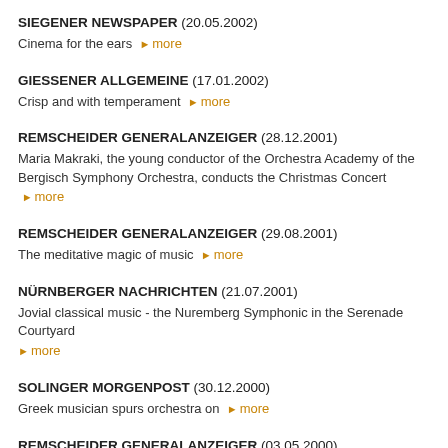SIEGENER NEWSPAPER (20.05.2002) Cinema for the ears ▶ more
GIESSENER ALLGEMEINE (17.01.2002) Crisp and with temperament ▶ more
REMSCHEIDER GENERALANZEIGER (28.12.2001) Maria Makraki, the young conductor of the Orchestra Academy of the Bergisch Symphony Orchestra, conducts the Christmas Concert ▶ more
REMSCHEIDER GENERALANZEIGER (29.08.2001) The meditative magic of music ▶ more
NÜRNBERGER NACHRICHTEN (21.07.2001) Jovial classical music - the Nuremberg Symphonic in the Serenade Courtyard ▶ more
SOLINGER MORGENPOST (30.12.2000) Greek musician spurs orchestra on ▶ more
REMSCHEIDER GENERALANZEIGER (03.05.2000) Charisma and skill ▶ more
BERLINER MORGENPOST (01.03.1999)